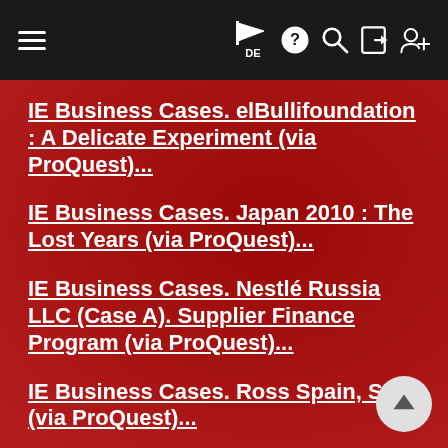Navigation bar with hamburger menu, flag/DE, help, search, login, and add user icons
IE Business Cases. elBullifoundation : A Delicate Experiment (via ProQuest)...
IE Business Cases. Japan 2010 : The Lost Years (via ProQuest)...
IE Business Cases. Nestlé Russia LLC (Case A). Supplier Finance Program (via ProQuest)...
IE Business Cases. Ross Spain, S.A. (via ProQuest)...